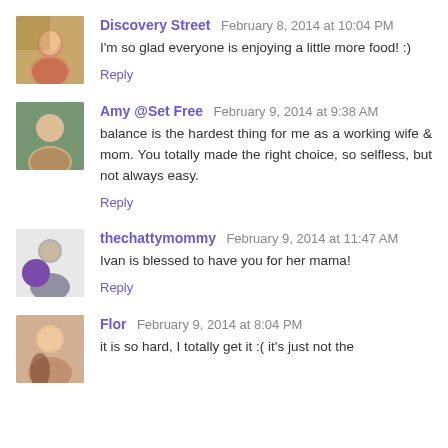Discovery Street  February 8, 2014 at 10:04 PM
I'm so glad everyone is enjoying a little more food! :)
Reply
Amy @Set Free  February 9, 2014 at 9:38 AM
balance is the hardest thing for me as a working wife & mom. You totally made the right choice, so selfless, but not always easy.
Reply
thechattymommy  February 9, 2014 at 11:47 AM
Ivan is blessed to have you for her mama!
Reply
Flor  February 9, 2014 at 8:04 PM
it is so hard, I totally get it :( it's just not the